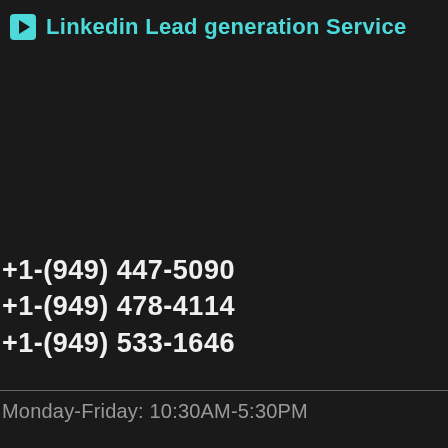Linkedin Lead generation Service
+1-(949) 447-5090
+1-(949) 478-4114
+1-(949) 533-1646
Monday-Friday: 10:30AM-5:30PM
info@kampp.org
Online support